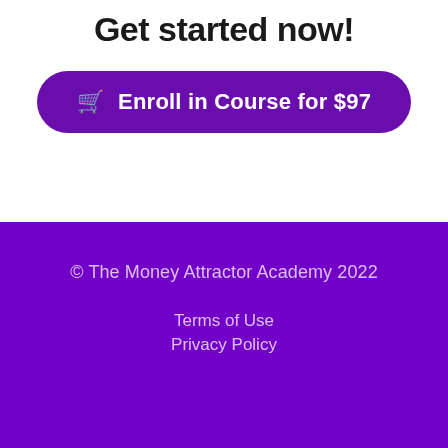Get started now!
Enroll in Course for $97
© The Money Attractor Academy 2022
Terms of Use
Privacy Policy